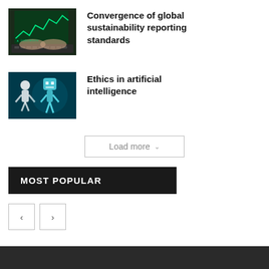[Figure (photo): Hands typing on a laptop keyboard with green financial/stock chart overlay on screen]
Convergence of global sustainability reporting standards
[Figure (photo): Abstract digital illustration of human figures in blue with AI/robot elements, teal background]
Ethics in artificial intelligence
Load more
MOST POPULAR
< >